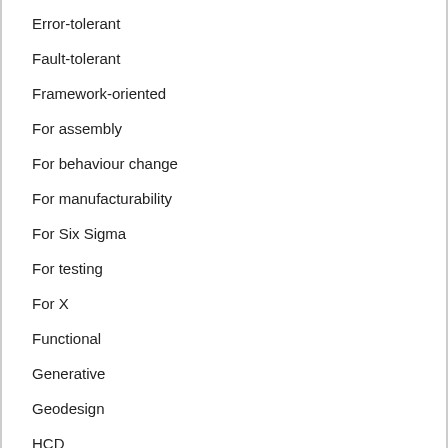Error-tolerant
Fault-tolerant
Framework-oriented
For assembly
For behaviour change
For manufacturability
For Six Sigma
For testing
For X
Functional
Generative
Geodesign
HCD
High-level
Inclusive
Integrated
Integrated topside
Intelligence-based